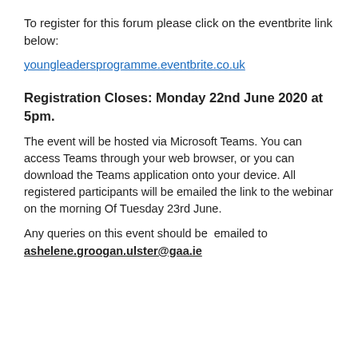To register for this forum please click on the eventbrite link below:
youngleadersprogramme.eventbrite.co.uk
Registration Closes: Monday 22nd June 2020 at 5pm.
The event will be hosted via Microsoft Teams. You can access Teams through your web browser, or you can download the Teams application onto your device. All registered participants will be emailed the link to the webinar on the morning Of Tuesday 23rd June.
Any queries on this event should be emailed to ashelene.groogan.ulster@gaa.ie